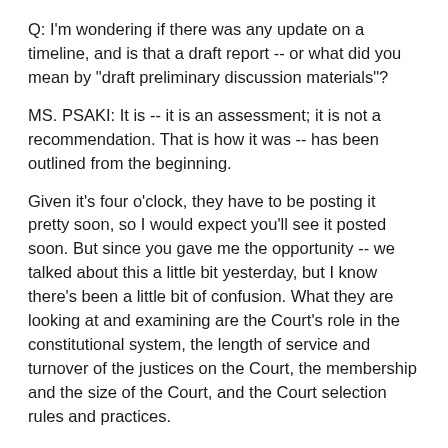Q: I'm wondering if there was any update on a timeline, and is that a draft report -- or what did you mean by "draft preliminary discussion materials"?
MS. PSAKI: It is -- it is an assessment; it is not a recommendation. That is how it was -- has been outlined from the beginning.
Given it's four o'clock, they have to be posting it pretty soon, so I would expect you'll see it posted soon. But since you gave me the opportunity -- we talked about this a little bit yesterday, but I know there's been a little bit of confusion. What they are looking at and examining are the Court's role in the constitutional system, the length of service and turnover of the justices on the Court, the membership and the size of the Court, and the Court selection rules and practices.
These are draft preliminary discussion materials because the next step will be a public meeting of the commission, on Friday, and they won't issue a final report and submit it to the President until mid-November.